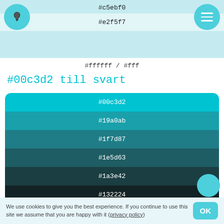#c5ebf0
#e2f5f7
#ffffff / #fff
#00c3d2 till svart
[Figure (infographic): Color palette showing gradient from #00c3d2 (teal) to #000000 (black) with intermediate steps: #19a0ab, #1f7d87, #1e5d63, #1a3e42, #132224, #000000]
We use cookies to give you the best experience. If you continue to use this site we assume that you are happy with it (privacy policy)